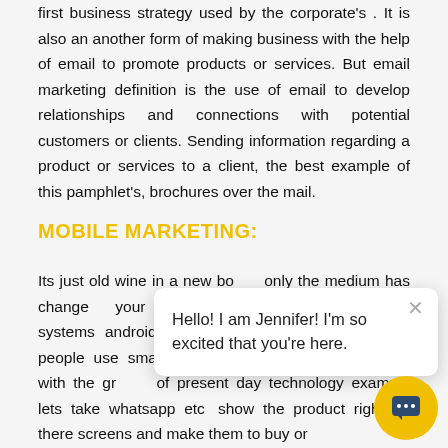first business strategy used by the corporate's . It is also an another form of making business with the help of email to promote products or services. But email marketing definition is the use of email to develop relationships and connections with potential customers or clients. Sending information regarding a product or services to a client, the best example of this pamphlet's, brochures over the mail.
MOBILE MARKETING:
Its just old wine in a new bo... only the medium has change... your business whatever th... operating systems android or ios). The average of 80% of people use smartphones of different systems. And with the gr... of present day technology example lets take whatsapp etc... show the product right on there screens and make them to buy or
[Figure (other): Chat popup with text 'Hello! I am Jennifer! I'm so excited that you're here.' and a yellow circular chat button with a speech bubble icon.]